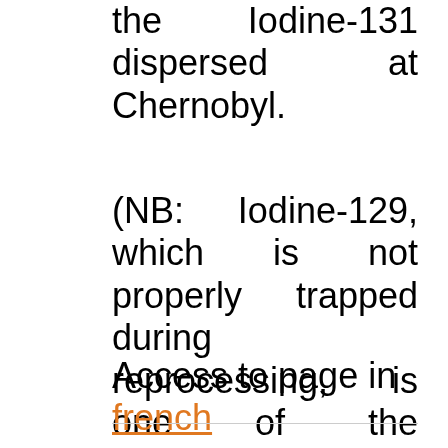the Iodine-131 dispersed at Chernobyl.
(NB: Iodine-129, which is not properly trapped during reprocessing, is one of the elements that are allowed to be discharged).
Access to page in french